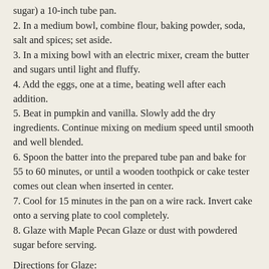sugar) a 10-inch tube pan.
2. In a medium bowl, combine flour, baking powder, soda, salt and spices; set aside.
3. In a mixing bowl with an electric mixer, cream the butter and sugars until light and fluffy.
4. Add the eggs, one at a time, beating well after each addition.
5. Beat in pumpkin and vanilla. Slowly add the dry ingredients. Continue mixing on medium speed until smooth and well blended.
6. Spoon the batter into the prepared tube pan and bake for 55 to 60 minutes, or until a wooden toothpick or cake tester comes out clean when inserted in center.
7. Cool for 15 minutes in the pan on a wire rack. Invert cake onto a serving plate to cool completely.
8. Glaze with Maple Pecan Glaze or dust with powdered sugar before serving.
Directions for Glaze:
1. In a small saucepan, combine the butter, maple syrup, and cream. Bring to a boil. Continue to boil for 1 minute.
2. Remove from heat and sift powdered sugar into the hot mixture. Whisk until smooth.
3. Let cool for about 15 to 20 minutes, until slightly thickened.